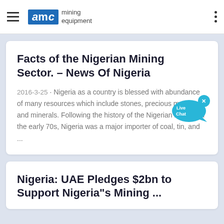AMC mining equipment
Facts of the Nigerian Mining Sector. – News Of Nigeria
2016-3-25 · Nigeria as a country is blessed with abundance of many resources which include stones, precious metals and minerals. Following the history of the Nigerian mining, In the early 70s, Nigeria was a major importer of coal, tin, and ...
[Figure (illustration): Live Chat speech bubble icon in blue]
Nigeria: UAE Pledges $2bn to Support Nigeria"s Mining ...